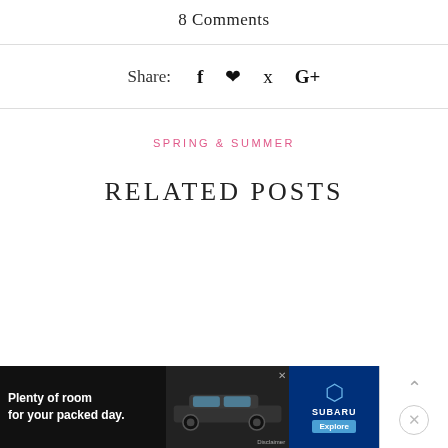8 Comments
Share: f ♥ p G+
SPRING & SUMMER
RELATED POSTS
[Figure (infographic): Advertisement banner for Subaru: 'Plenty of room for your packed day.' with image of a Subaru SUV and Subaru logo with Explore button]